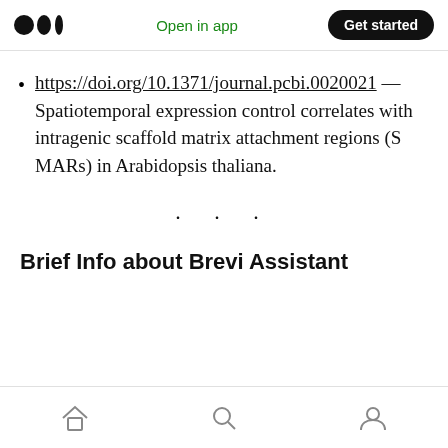Open in app | Get started
https://doi.org/10.1371/journal.pcbi.0020021 — Spatiotemporal expression control correlates with intragenic scaffold matrix attachment regions (S MARs) in Arabidopsis thaliana.
. . .
Brief Info about Brevi Assistant
home | search | profile